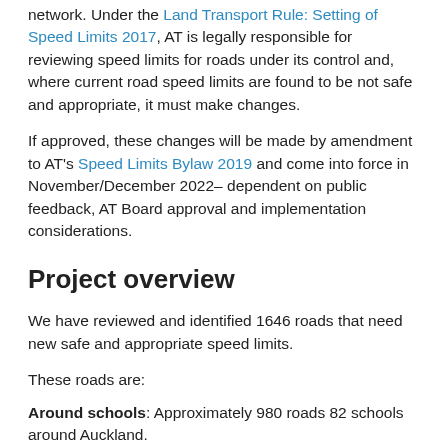network. Under the Land Transport Rule: Setting of Speed Limits 2017, AT is legally responsible for reviewing speed limits for roads under its control and, where current road speed limits are found to be not safe and appropriate, it must make changes.
If approved, these changes will be made by amendment to AT's Speed Limits Bylaw 2019 and come into force in November/December 2022– dependent on public feedback, AT Board approval and implementation considerations.
Project overview
We have reviewed and identified 1646 roads that need new safe and appropriate speed limits.
These roads are:
Around schools: Approximately 980 roads 82 schools around Auckland.
Rural roads: There are 415 rural roads, including areas such as: Waiheke Island, Āwhitu Peninsula, Waitākere, Okura, Stillwater, Waiwera, Whenuapai,